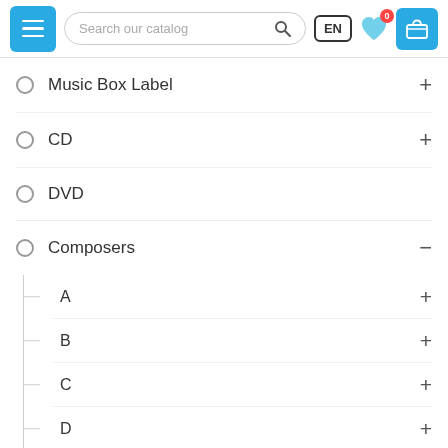[Figure (screenshot): Website navigation header with hamburger menu button (blue), search bar, EN language selector, heart icon, and shopping cart icon (blue)]
Music Box Label +
CD +
DVD
Composers −
A +
B +
C +
D +
E +
F +
G +
H +
I +